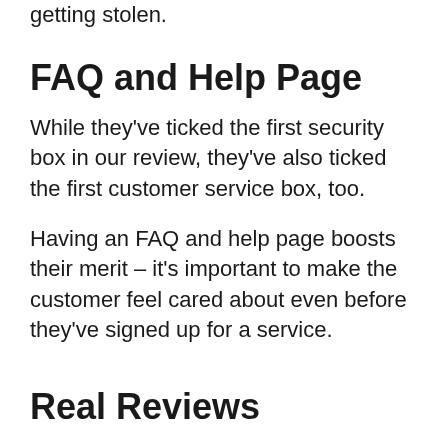getting stolen.
FAQ and Help Page
While they've ticked the first security box in our review, they've also ticked the first customer service box, too.
Having an FAQ and help page boosts their merit – it's important to make the customer feel cared about even before they've signed up for a service.
Real Reviews
They do appear to have included real reviews on their website. This is often a tall order with these kinds of companies, so it's